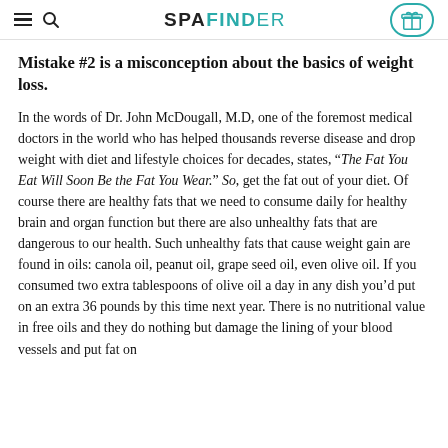SPAFINDER
Mistake #2 is a misconception about the basics of weight loss.
In the words of Dr. John McDougall, M.D, one of the foremost medical doctors in the world who has helped thousands reverse disease and drop weight with diet and lifestyle choices for decades, states, “The Fat You Eat Will Soon Be the Fat You Wear.” So, get the fat out of your diet. Of course there are healthy fats that we need to consume daily for healthy brain and organ function but there are also unhealthy fats that are dangerous to our health. Such unhealthy fats that cause weight gain are found in oils: canola oil, peanut oil, grape seed oil, even olive oil. If you consumed two extra tablespoons of olive oil a day in any dish you’d put on an extra 36 pounds by this time next year. There is no nutritional value in free oils and they do nothing but damage the lining of your blood vessels and put fat on